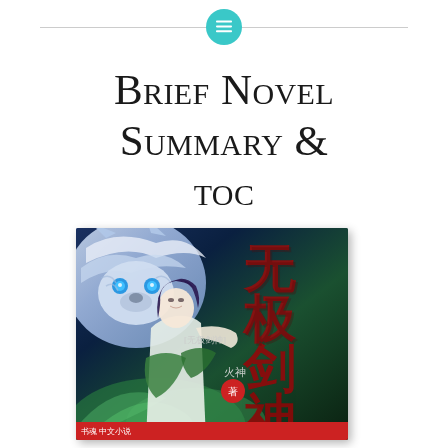≡
Brief Novel Summary & TOC
[Figure (photo): Book cover of a Chinese fantasy novel (无极剑神 / Wuji Sword God) showing a female character with a white wolf, large red Chinese calligraphy title characters, and author name 火神 with a red badge. Published by a Chinese publisher.]